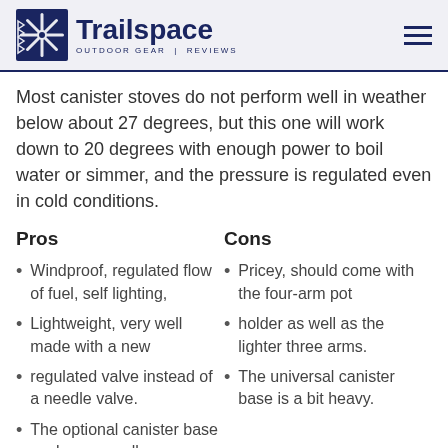Trailspace OUTDOOR GEAR REVIEWS
Most canister stoves do not perform well in weather below about 27 degrees, but this one will work down to 20 degrees with enough power to boil water or simmer, and the pressure is regulated even in cold conditions.
Pros
Windproof, regulated flow of fuel, self lighting,
Lightweight, very well made with a new
regulated valve instead of a needle valve.
The optional canister base works very well
Cons
Pricey, should come with the four-arm pot
holder as well as the lighter three arms.
The universal canister base is a bit heavy.